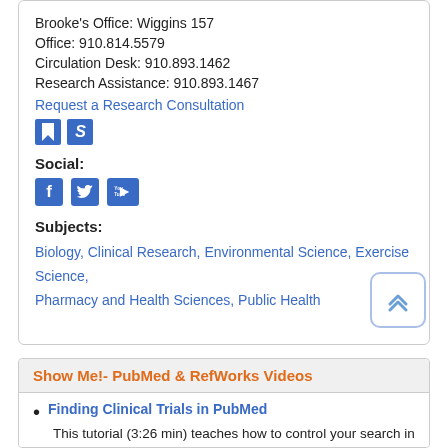Brooke's Office: Wiggins 157
Office: 910.814.5579
Circulation Desk: 910.893.1462
Research Assistance: 910.893.1467
Request a Research Consultation
Social:
Subjects:
Biology, Clinical Research, Environmental Science, Exercise Science, Pharmacy and Health Sciences, Public Health
Show Me!- PubMed & RefWorks Videos
Finding Clinical Trials in PubMed
This tutorial (3:26 min) teaches how to control your search in PubMed to find clinical trials.
RefWorks: Importing Citations from PubMed
This tutorial (1:45 min) demonstrates how RefWorks can be used to